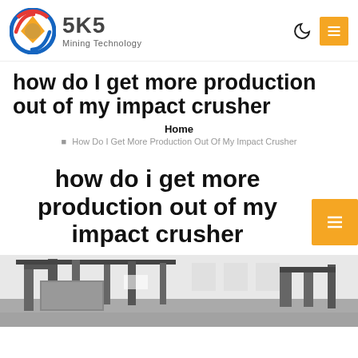SKS Mining Technology
how do I get more production out of my impact crusher
Home
How Do I Get More Production Out Of My Impact Crusher
how do i get more production out of my impact crusher
[Figure (photo): Industrial impact crusher machinery in a factory setting, black and white tones]